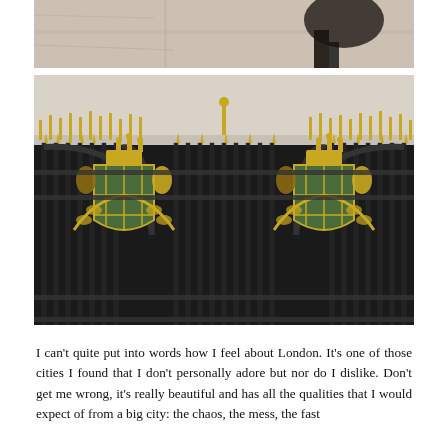[Figure (photo): Aerial/overhead view of a street scene, partial view of pavement and what appears to be a dark figure or object]
[Figure (photo): Buckingham Palace ornate black and gold gates with royal coat of arms crests, decorative ironwork and palace facade visible behind]
I can't quite put into words how I feel about London. It's one of those cities I found that I don't personally adore but nor do I dislike. Don't get me wrong, it's really beautiful and has all the qualities that I would expect of from a big city: the chaos, the mess, the fast